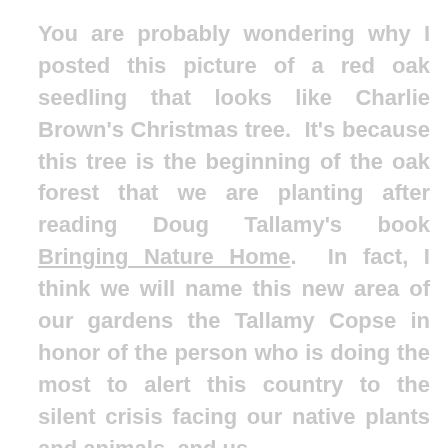You are probably wondering why I posted this picture of a red oak seedling that looks like Charlie Brown's Christmas tree.  It's because this tree is the beginning of the oak forest that we are planting after reading Doug Tallamy's book Bringing Nature Home.  In fact, I think we will name this new area of our gardens the Tallamy Copse in honor of the person who is doing the most to alert this country to the silent crisis facing our native plants and animals, and us.
Doug Tallamy, Chair of Entomology and Wildlife Ecology at the University of Delaware, finally made me understand why native plants are crucial to our survival on this planet.  Yes, being a somewhat evolved horticulturalist, I knew native plants were desirable.  But I thought it was just because they were